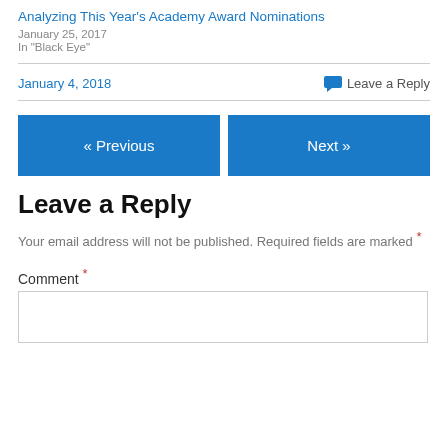Analyzing This Year's Academy Award Nominations
January 25, 2017
In "Black Eye"
January 4, 2018   Leave a Reply
« Previous   Next »
Leave a Reply
Your email address will not be published. Required fields are marked *
Comment *